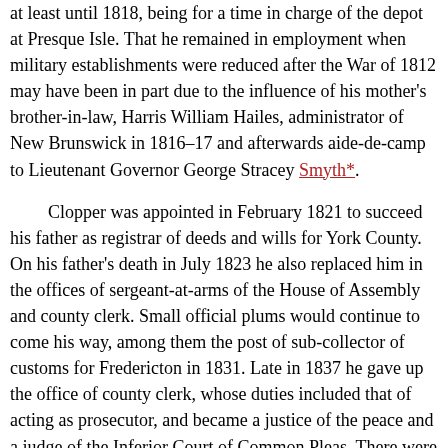at least until 1818, being for a time in charge of the depot at Presque Isle. That he remained in employment when military establishments were reduced after the War of 1812 may have been in part due to the influence of his mother's brother-in-law, Harris William Hailes, administrator of New Brunswick in 1816–17 and afterwards aide-de-camp to Lieutenant Governor George Stracey Smyth*.
Clopper was appointed in February 1821 to succeed his father as registrar of deeds and wills for York County. On his father's death in July 1823 he also replaced him in the offices of sergeant-at-arms of the House of Assembly and county clerk. Small official plums would continue to come his way, among them the post of sub-collector of customs for Fredericton in 1831. Late in 1837 he gave up the office of county clerk, whose duties included that of acting as prosecutor, and became a justice of the peace and a judge of the Inferior Court of Common Pleas. There were few community endeavours in which Clopper was not involved. In